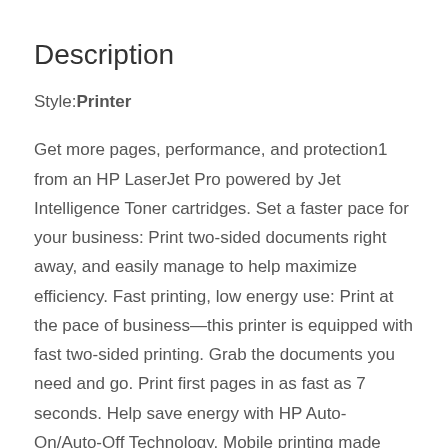Description
Style: Printer
Get more pages, performance, and protection1 from an HP LaserJet Pro powered by Jet Intelligence Toner cartridges. Set a faster pace for your business: Print two-sided documents right away, and easily manage to help maximize efficiency. Fast printing, low energy use: Print at the pace of business—this printer is equipped with fast two-sided printing. Grab the documents you need and go. Print first pages in as fast as 7 seconds. Help save energy with HP Auto-On/Auto-Off Technology. Mobile printing made simple: Print from iPhone and iPad with AirPrint, which automatically scales jobs to the correct paper size. Print directly from your mobile device to your Wi-Fi Direct printer without connecting to a network. Print